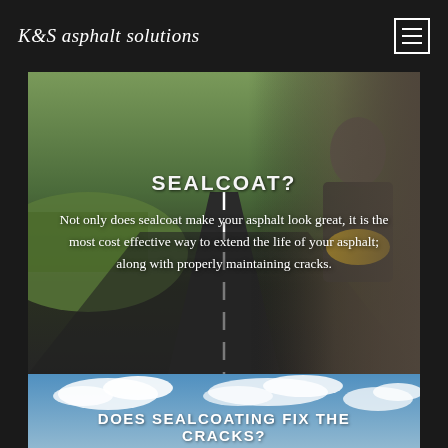K&S asphalt solutions
[Figure (photo): Background photo of an asphalt road with white center line, green grass on sides, and a worker in a suit holding a yellow hard hat on the right side.]
SEALCOAT?
Not only does sealcoat make your asphalt look great, it is the most cost effective way to extend the life of your asphalt; along with properly maintaining cracks.
[Figure (photo): Background photo of a bright blue sky with white clouds.]
DOES SEALCOATING FIX THE CRACKS?